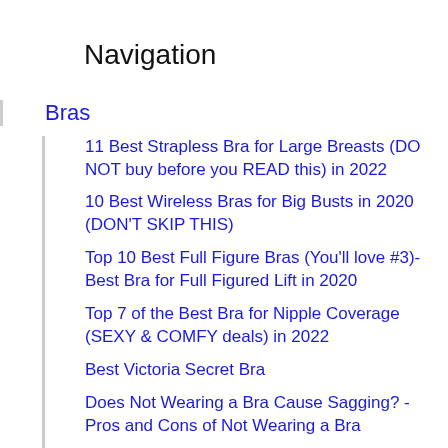Navigation
Bras
11 Best Strapless Bra for Large Breasts (DO NOT buy before you READ this) in 2022
10 Best Wireless Bras for Big Busts in 2020 (DON'T SKIP THIS)
Top 10 Best Full Figure Bras (You'll love #3)- Best Bra for Full Figured Lift in 2020
Top 7 of the Best Bra for Nipple Coverage (SEXY & COMFY deals) in 2022
Best Victoria Secret Bra
Does Not Wearing a Bra Cause Sagging? - Pros and Cons of Not Wearing a Bra
Types of Bra Designs